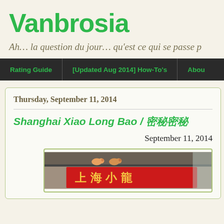Vanbrosia
Ah… la question du jour… qu'est ce qui se passe p
Rating Guide | [Updated Aug 2014] How-To's | About
Thursday, September 11, 2014
Shanghai Xiao Long Bao / 上海小籠包
September 11, 2014
[Figure (photo): Restaurant sign with Chinese characters and decorative pig figurines above, red Chinese text signage visible]